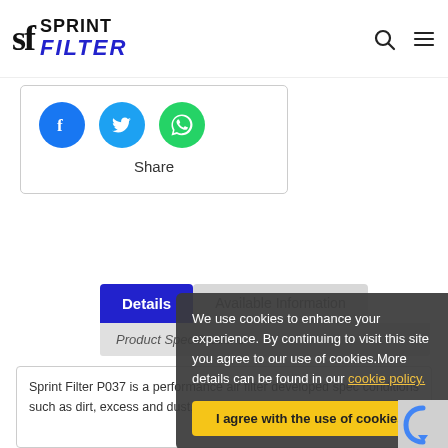[Figure (logo): Sprint Filter logo with 'sf' serif letters and 'SPRINT FILTER' text in black and blue italic]
[Figure (infographic): Three social share icon circles: Facebook (blue), Twitter (light blue), WhatsApp (green)]
Share
Details
Available Information
Product Specifications
Sprint Filter P037 is a performance air filter developed spec conditions such as dirt, excess and dust, ideal for
We use cookies to enhance your experience. By continuing to visit this site you agree to our use of cookies.More details can be found in our cookie policy.
I agree with the use of cookies.